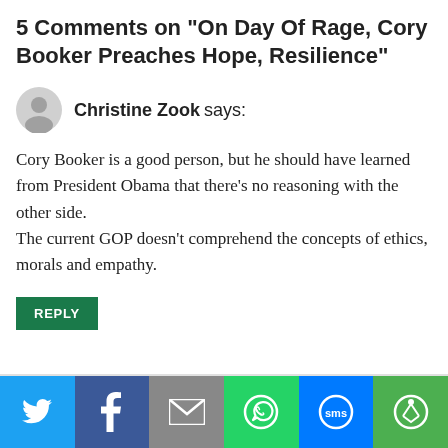5 Comments on "On Day Of Rage, Cory Booker Preaches Hope, Resilience"
Christine Zook says:
Cory Booker is a good person, but he should have learned from President Obama that there's no reasoning with the other side.
The current GOP doesn't comprehend the concepts of ethics, morals and empathy.